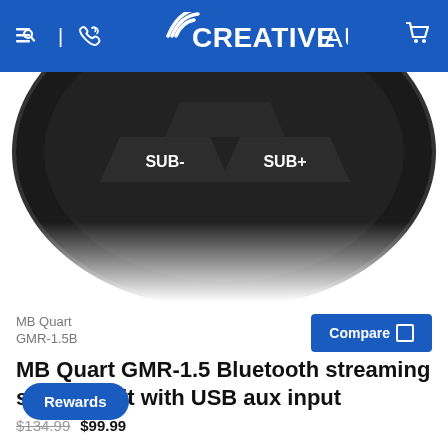CREATIVE AUDIO
[Figure (photo): Close-up of a black circular car audio remote control showing SUB- and SUB+ buttons in the center on a white background.]
MB Quart
GMR-1.5B
MB Quart GMR-1.5 Bluetooth streaming source unit with USB aux input
$134.99
$99.99